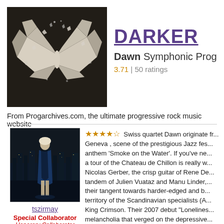[Figure (photo): Album cover art for DARKER by Dawn - dark background with white butterfly/bird shape made of shattered fragments]
DARKER
Dawn Symphonic Prog
3.71 | 50 ratings
From Progarchives.com, the ultimate progressive rock music website
[Figure (photo): Roxy Music album cover showing a woman in blue dress against a city night skyline]
tszirmay
Special Collaborator
Honorary Collaborator
Swiss quartet Dawn originate fr... Geneva , scene of the prestigious Jazz fes... anthem 'Smoke on the Water'. If you've ne... a tour of the Chateau de Chillon is really w... Nicolas Gerber, the crisp guitar of Rene De... tandem of Julien Vuataz and Manu Linder, ... their tangent towards harder-edged and b... territory of the Scandinavian specialists (A... King Crimson. Their 2007 debut "Lonelines... melancholia that verged on the depressive...